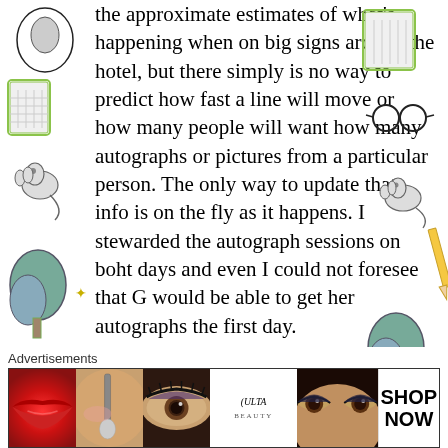[Figure (illustration): Decorative left sidebar with illustrated icons: grater/cheese, squirrel, glasses, parenthesis, bag, cat/mouse, circle portrait, grater]
the approximate estimates of what's happening when on big signs around the hotel, but there simply is no way to predict how fast a line will move or how many people will want how many autographs or pictures from a particular person. The only way to update that info is on the fly as it happens. I stewarded the autograph sessions on boht days and even I could not foresee that G would be able to get her autographs the first day.
[Figure (illustration): Decorative right sidebar with illustrated icons: grater/cheese, glasses, squirrel/cat, pencil, tree, grater, glasses, squirrel, close/X button]
Advertisements
[Figure (photo): ULTA beauty advertisement banner showing makeup photos: red lips, makeup brush, eye with makeup, ULTA logo, dramatic eye makeup, SHOP NOW button]